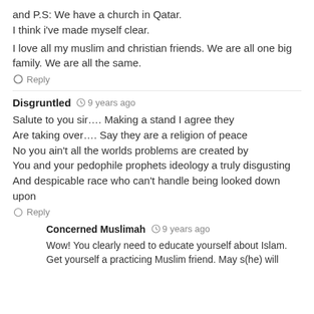and P.S: We have a church in Qatar.
I think i've made myself clear.
I love all my muslim and christian friends. We are all one big family. We are all the same.
Reply
Disgruntled  9 years ago
Salute to you sir…. Making a stand I agree they Are taking over…. Say they are a religion of peace No you ain't all the worlds problems are created by You and your pedophile prophets ideology a truly disgusting And despicable race who can't handle being looked down upon
Reply
Concerned Muslimah  9 years ago
Wow! You clearly need to educate yourself about Islam. Get yourself a practicing Muslim friend. May s(he) will